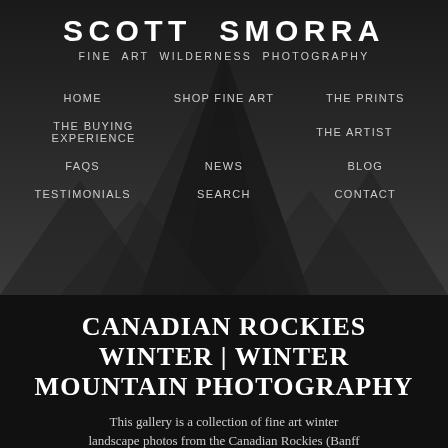SCOTT SMORRA
FINE ART WILDERNESS PHOTOGRAPHY
HOME
SHOP FINE ART
THE PRINTS
THE BUYING EXPERIENCE
THE ARTIST
FAQS
NEWS
BLOG
TESTIMONIALS
SEARCH
CONTACT
[Figure (photo): Dark mountain silhouette background image — dramatic rocky peak against dark sky]
CANADIAN ROCKIES WINTER | WINTER MOUNTAIN PHOTOGRAPHY
This gallery is a collection of fine art winter landscape photos from the Canadian Rockies (Banff